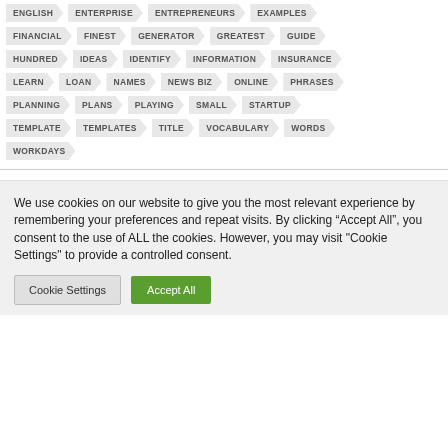ENGLISH
ENTERPRISE
ENTREPRENEURS
EXAMPLES
FINANCIAL
FINEST
GENERATOR
GREATEST
GUIDE
HUNDRED
IDEAS
IDENTIFY
INFORMATION
INSURANCE
LEARN
LOAN
NAMES
NEWS BIZ
ONLINE
PHRASES
PLANNING
PLANS
PLAYING
SMALL
STARTUP
TEMPLATE
TEMPLATES
TITLE
VOCABULARY
WORDS
WORKDAYS
We use cookies on our website to give you the most relevant experience by remembering your preferences and repeat visits. By clicking “Accept All”, you consent to the use of ALL the cookies. However, you may visit "Cookie Settings" to provide a controlled consent.